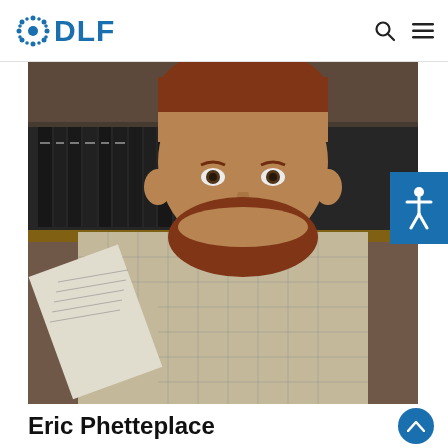DLF
[Figure (photo): A young man with red hair and a red beard, wearing a plaid button-up shirt, holding and reading a paper document, seated in front of a bookshelf filled with dark-bound volumes in what appears to be a library setting.]
Eric Phetteplace